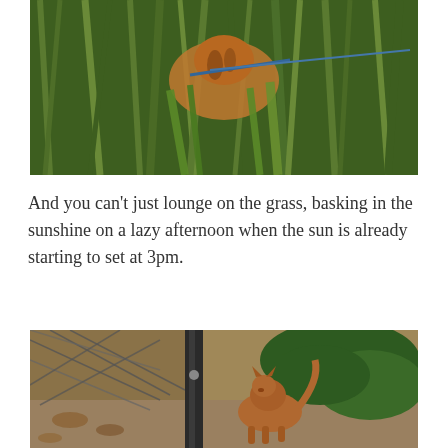[Figure (photo): A cat partially hidden in tall green grass, wearing a harness, photographed from above.]
And you can’t just lounge on the grass, basking in the sunshine on a lazy afternoon when the sun is already starting to set at 3pm.
[Figure (photo): A brown Abyssinian cat standing near a chain-link fence post, sniffing the ground, with dry leaves and evergreen shrubs in the background.]